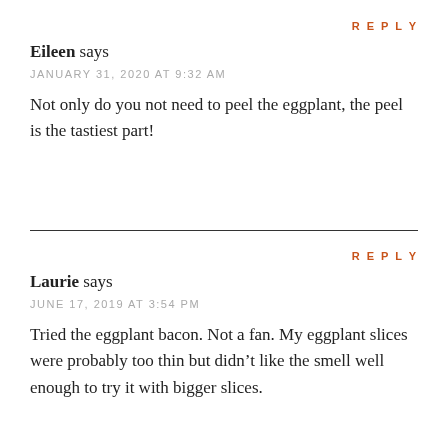REPLY
Eileen says
JANUARY 31, 2020 AT 9:32 AM
Not only do you not need to peel the eggplant, the peel is the tastiest part!
REPLY
Laurie says
JUNE 17, 2019 AT 3:54 PM
Tried the eggplant bacon. Not a fan. My eggplant slices were probably too thin but didn’t like the smell well enough to try it with bigger slices.